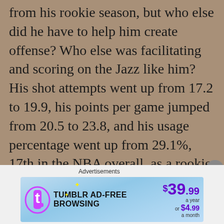from his rookie season, but who else did he have to help him create offense? Who else was facilitating and scoring on the Jazz like him? His shot attempts went up from 17.2 to 19.9, his points per game jumped from 20.5 to 23.8, and his usage percentage went up from 29.1%, 17th in the NBA overall, as a rookie, to 31.6%, good enough for sixth in the entire NBA. However, as I pointed out, his field goal percentage virtually remained the same. It's worth mentioning that everyone was more prepared for him in his sophomore season than his rookie season, so I ask, how is this not impressive? He
Advertisements
[Figure (other): Tumblr Ad-Free Browsing advertisement banner. Shows Tumblr logo with text 'TUMBLR AD-FREE BROWSING' and pricing '$39.99 a year or $4.99 a month' on a light blue gradient background.]